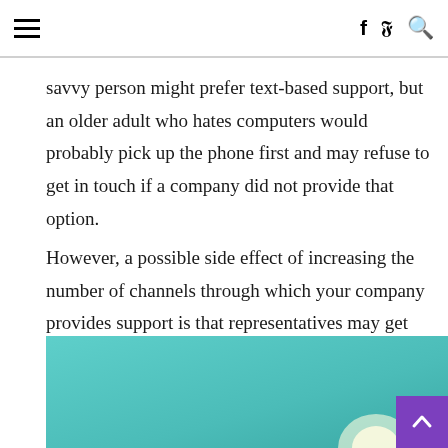≡  f  𝒻  🔍
savvy person might prefer text-based support, but an older adult who hates computers would probably pick up the phone first and may refuse to get in touch if a company did not provide that option.
However, a possible side effect of increasing the number of channels through which your company provides support is that representatives may get swamped by the increased workload. Suppose you expect the same team that initially supported people through one channel to suddenly add three more to their workloads.
[Figure (photo): A teal/cyan gradient background with a glowing light bulb partially visible in the lower right area of the image.]